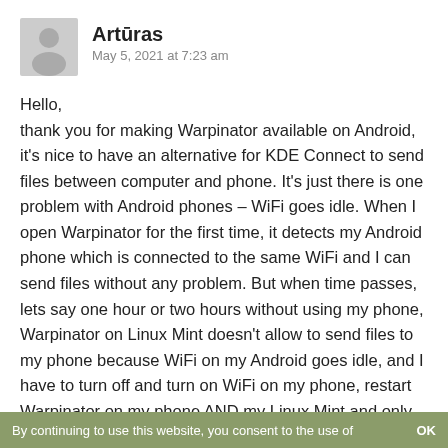[Figure (illustration): Gray circular avatar silhouette icon with a person shape]
Artūras
May 5, 2021 at 7:23 am
Hello,
thank you for making Warpinator available on Android, it's nice to have an alternative for KDE Connect to send files between computer and phone. It's just there is one problem with Android phones – WiFi goes idle. When I open Warpinator for the first time, it detects my Android phone which is connected to the same WiFi and I can send files without any problem. But when time passes, lets say one hour or two hours without using my phone, Warpinator on Linux Mint doesn't allow to send files to my phone because WiFi on my Android goes idle, and I have to turn off and turn on WiFi on my phone, restart Warpinator on my phone AND my Linux Mint and only then I can send files.
By continuing to use this website, you consent to the use of    OK